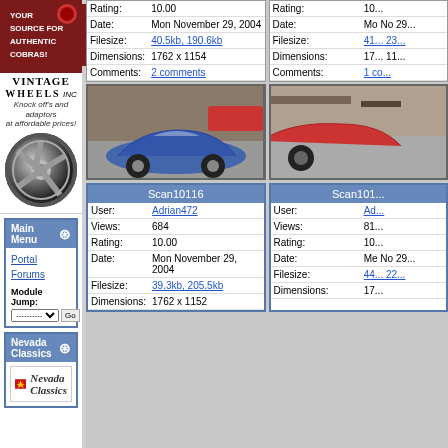[Figure (photo): Vintage Wheels Inc advertisement with chrome wheel image]
Main Menu
Portal
Forums
Module Jump:
Nevada Classics
[Figure (logo): Nevada Classics logo with red sunburst]
|  |  |
| --- | --- |
| Rating: | 10.00 |
| Date: | Mon November 29, 2004 |
| Filesize: | 40.5kb, 190.6kb |
| Dimensions: | 1762 x 1154 |
| Comments: | 2 comments |
[Figure (photo): Blue sports car parked in garage]
[Figure (photo): Red vintage car partially visible]
| Scan10116 |  |
| --- | --- |
| User: | Adrian472 |
| Views: | 684 |
| Rating: | 10.00 |
| Date: | Mon November 29, 2004 |
| Filesize: | 39.3kb, 205.5kb |
| Dimensions: | 1762 x 1152 |
| Scan101... |  |
| --- | --- |
| User: | Ad... |
| Views: | 81 |
| Rating: | 10... |
| Date: | Mo No 29... |
| Filesize: | 44... 22... |
| Dimensions: | 17... |